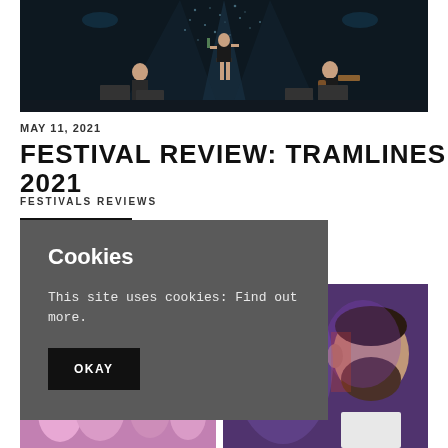[Figure (photo): Concert stage photo showing a performer standing on a platform spraying champagne, with band members in the background and stage lighting]
MAY 11, 2021
FESTIVAL REVIEW: TRAMLINES 2021
FESTIVALS REVIEWS
[Figure (screenshot): Cookie consent overlay popup with dark grey background showing 'Cookies' heading, message 'This site uses cookies: Find out more.' and an OKAY button]
[Figure (photo): Two festival crowd photos side by side showing people at the Tramlines festival, with purple and pink lighting]